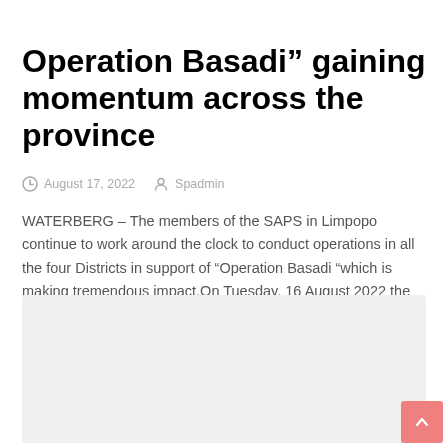Operation Basadi” gaining momentum across the province
August 17, 2022   Spadmin
WATERBERG – The members of the SAPS in Limpopo continue to work around the clock to conduct operations in all the four Districts in support of “Operation Basadi “which is making tremendous impact.On Tuesday, 16 August 2022 the Station Commander of Leph...
[Figure (other): Grey advertisement placeholder box]